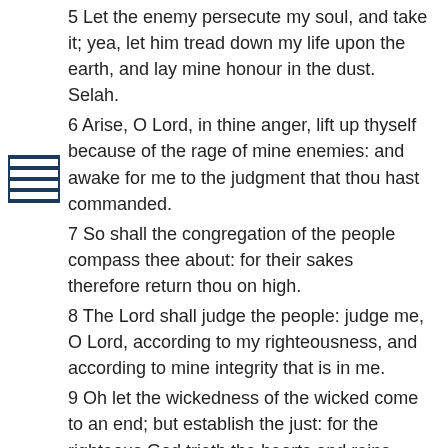5 Let the enemy persecute my soul, and take it; yea, let him tread down my life upon the earth, and lay mine honour in the dust. Selah.
6 Arise, O Lord, in thine anger, lift up thyself because of the rage of mine enemies: and awake for me to the judgment that thou hast commanded.
7 So shall the congregation of the people compass thee about: for their sakes therefore return thou on high.
8 The Lord shall judge the people: judge me, O Lord, according to my righteousness, and according to mine integrity that is in me.
9 Oh let the wickedness of the wicked come to an end; but establish the just: for the righteous God trieth the hearts and reins.
10 My defence is of God, which saveth the upright in heart.
11 God judgeth the righteous, and God is angry with the wicked every day.
12 If he turn not, he will whet his sword; he hath bent his bow, and made it ready.
13 He hath also prepared for him the instruments of death; he ordaineth his arrows against the persecutors.
14 Behold, he travaileth with iniquity, and hath conceived mischief, and brought forth falsehood.